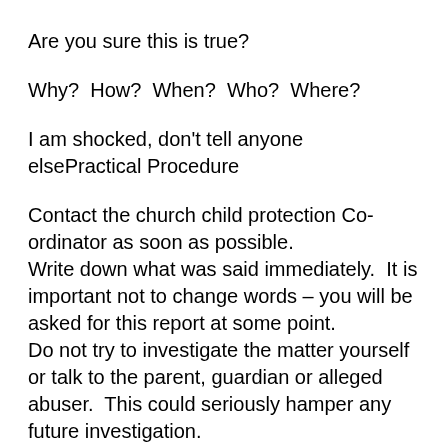Are you sure this is true?
Why?  How?  When?  Who?  Where?
I am shocked, don't tell anyone elsePractical Procedure
Contact the church child protection Co-ordinator as soon as possible.
Write down what was said immediately.  It is important not to change words – you will be asked for this report at some point.
Do not try to investigate the matter yourself or talk to the parent, guardian or alleged abuser.  This could seriously hamper any future investigation.
On very rare occasions there may be a need to